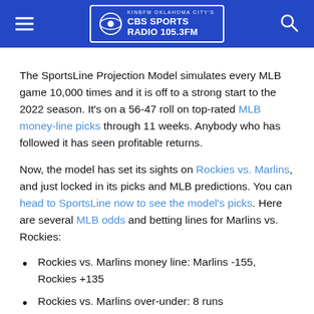KINBFM OKLAHOMA CITY'S CBS SPORTS RADIO 105.3FM
The SportsLine Projection Model simulates every MLB game 10,000 times and it is off to a strong start to the 2022 season. It's on a 56-47 roll on top-rated MLB money-line picks through 11 weeks. Anybody who has followed it has seen profitable returns.
Now, the model has set its sights on Rockies vs. Marlins, and just locked in its picks and MLB predictions. You can head to SportsLine now to see the model's picks. Here are several MLB odds and betting lines for Marlins vs. Rockies:
Rockies vs. Marlins money line: Marlins -155, Rockies +135
Rockies vs. Marlins over-under: 8 runs
Rockies vs. Marlins run line: Marlins -1.5 (+145)